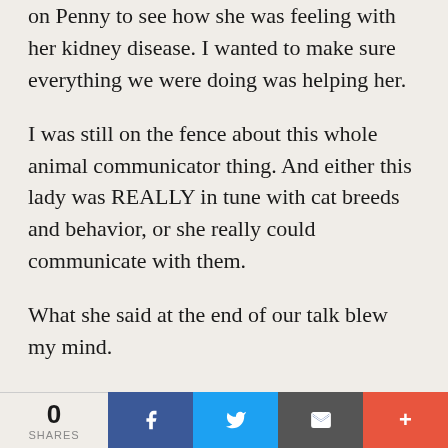on Penny to see how she was feeling with her kidney disease. I wanted to make sure everything we were doing was helping her.
I was still on the fence about this whole animal communicator thing. And either this lady was REALLY in tune with cat breeds and behavior, or she really could communicate with them.
What she said at the end of our talk blew my mind.
“Penny feels that you are her pet and she is your master.”
Yeah, no shit?
0 SHARES | Facebook | Twitter | Email | More